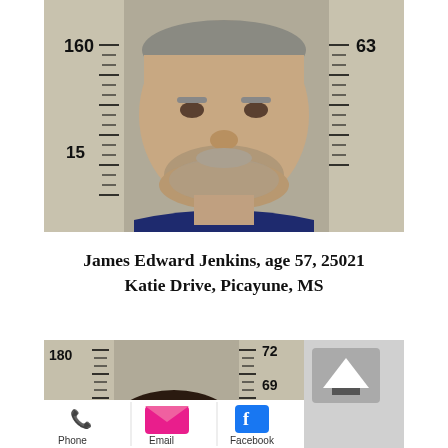[Figure (photo): Mugshot of James Edward Jenkins against a height measurement ruler background. He is a heavyset older white male with gray stubble, wearing a dark navy blue shirt. The ruler shows markings at 160 and 15x (150s) on the left, and 63 on the right.]
James Edward Jenkins, age 57, 25021 Katie Drive, Picayune, MS
[Figure (screenshot): Partial screenshot of a mobile device showing another mugshot photo with a height measurement ruler (180, 170 on left; 72, 69, 66 on right), plus a phone app contact bar at the bottom with Phone (green phone icon), Email (pink envelope icon), and Facebook (blue F icon) options.]